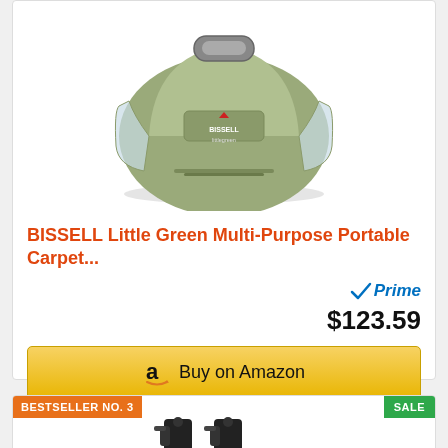[Figure (photo): BISSELL Little Green Multi-Purpose Portable Carpet Cleaner product photo - a compact green dome-shaped carpet cleaner with clear water tanks on sides]
BISSELL Little Green Multi-Purpose Portable Carpet...
Prime
$123.59
Buy on Amazon
BESTSELLER NO. 3
SALE
[Figure (photo): Two black spray bottles/trigger sprayers shown side by side]